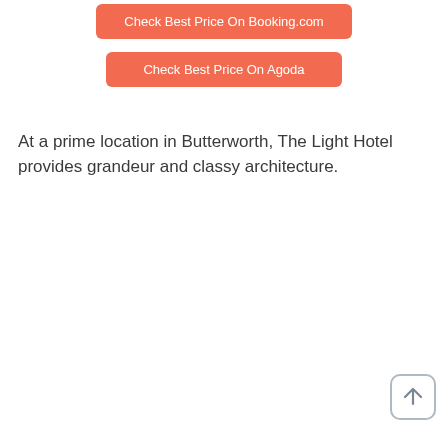Check Best Price On Booking.com
Check Best Price On Agoda
At a prime location in Butterworth, The Light Hotel provides grandeur and classy architecture.
[Figure (other): Scroll-to-top button with upward arrow icon, rounded square border in grey]